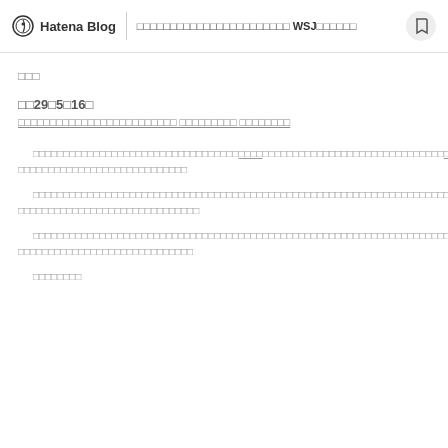Hatena Blog | □□□□□□□□□□□□□□□□□□□□□□□ WSJ□□□□□□
□□□
□□29□5□16□
□□□□□□□□□□□□□□□□□□□□□□□□□ □□□□□□□□□ □□□□□□□□
□□□□□□□□□□□□□□□□□□□□□□□□□□□□□□□□□□□□□□□□□□□□□□□□□□□□□□□□□□□□□□□□□□□□□□□□□□□□□□□□□□□□□□□□□□□□□□□□□□□□□□□□□□□□□□□□□□□□□□□□□□
□□□□□□□□□□□□□□□□□□□□□□□□□□□□□□□□□□□□□□□□□□□□□□□□□□□□□□□□□□□□□□□□□□□□□□□□□□□□□□□□□□□□□□□□□□□□□□□□□□□□□□□□□□□□□□□□□□□□□□□□□□
□□□□□□□□□□□□□□□□□□□□□□□□□□□□□□□□□□□□□□□□□□□□□□□□□□□□□□□□□□□□□□□□□□□□□□□□□□□□□□□□□□□□□□□□□□□□□□□□□□□□□□□□□□□□□□□□□□□□□□□□□□
□□□□□□□□